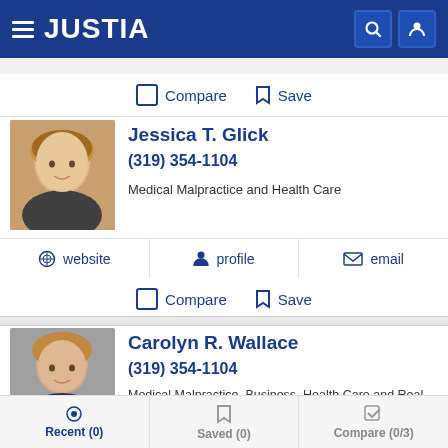[Figure (screenshot): Justia website header with hamburger menu, JUSTIA logo, search icon and user icon on dark blue background]
Compare  Save
[Figure (photo): Headshot of Jessica T. Glick, female attorney with blonde hair]
Jessica T. Glick
(319) 354-1104
Medical Malpractice and Health Care
website   profile   email
Compare  Save
[Figure (photo): Headshot of Carolyn R. Wallace, female attorney with brown hair]
Carolyn R. Wallace
(319) 354-1104
Medical Malpractice, Business, Health Care and Real Estate
Recent (0)   Saved (0)   Compare (0/3)